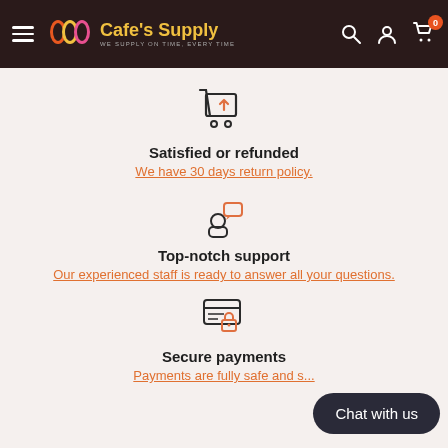Cafe's Supply — WE SUPPLY ON TIME, EVERY TIME
[Figure (illustration): Return/refund shopping cart icon in dark outline with orange arrow]
Satisfied or refunded
We have 30 days return policy.
[Figure (illustration): Customer support icon: person silhouette with orange speech bubble]
Top-notch support
Our experienced staff is ready to answer all your questions.
[Figure (illustration): Secure payment icon: credit card with lock]
Secure payments
Payments are fully safe and s...